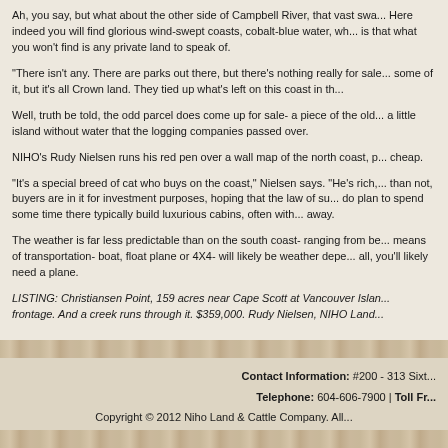Ah, you say, but what about the other side of Campbell River, that vast swa... Here indeed you will find glorious wind-swept coasts, cobalt-blue water, wh... is that what you won't find is any private land to speak of.
"There isn't any. There are parks out there, but there's nothing really for sale... some of it, but it's all Crown land. They tied up what's left on this coast in th...
Well, truth be told, the odd parcel does come up for sale- a piece of the old... a little island without water that the logging companies passed over.
NIHO's Rudy Nielsen runs his red pen over a wall map of the north coast, p... cheap.
"It's a special breed of cat who buys on the coast," Nielsen says. "He's rich,... than not, buyers are in it for investment purposes, hoping that the law of su... do plan to spend some time there typically build luxurious cabins, often with... away.
The weather is far less predictable than on the south coast- ranging from be... means of transportation- boat, float plane or 4X4- will likely be weather depe... all, you'll likely need a plane.
LISTING: Christiansen Point, 159 acres near Cape Scott at Vancouver Islan... frontage. And a creek runs through it. $359,000. Rudy Nielsen, NIHO Land...
Contact Information: #200 - 313 Sixt... Telephone: 604-606-7900 | Toll Fr... Copyright © 2012 Niho Land & Cattle Company. All...